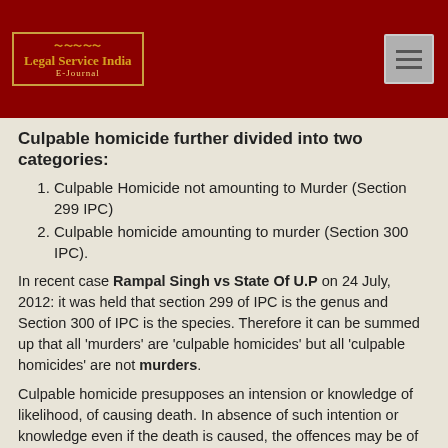[Figure (logo): Legal Service India E-Journal logo in a bordered box on dark red header background]
Culpable homicide further divided into two categories:
Culpable Homicide not amounting to Murder (Section 299 IPC)
Culpable homicide amounting to murder (Section 300 IPC).
In recent case Rampal Singh vs State Of U.P on 24 July, 2012: it was held that section 299 of IPC is the genus and Section 300 of IPC is the species. Therefore it can be summed up that all 'murders' are 'culpable homicides' but all 'culpable homicides' are not murders.
Culpable homicide presupposes an intension or knowledge of likelihood, of causing death. In absence of such intention or knowledge even if the death is caused, the offences may be of hurt or grievous hurt.
Section 299: Culpable Homicide not amounting to